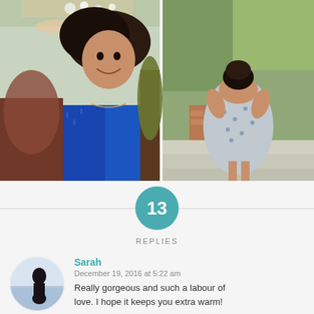[Figure (photo): Two photos side by side: left photo shows a young woman with curly hair wearing a blue floral shirt and a flower crown, outdoors; right photo shows a person from behind in a floral dress walking up stone steps with a garden background.]
13
REPLIES
[Figure (photo): Small circular avatar photo of Sarah, a woman in dark clothes near water.]
Sarah
December 19, 2016 at 5:22 am
Really gorgeous and such a labour of love. I hope it keeps you extra warm!